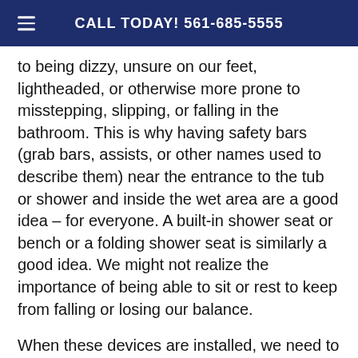CALL TODAY! 561-685-5555
to being dizzy, unsure on our feet, lightheaded, or otherwise more prone to misstepping, slipping, or falling in the bathroom. This is why having safety bars (grab bars, assists, or other names used to describe them) near the entrance to the tub or shower and inside the wet area are a good idea – for everyone. A built-in shower seat or bench or a folding shower seat is similarly a good idea. We might not realize the importance of being able to sit or rest to keep from falling or losing our balance.
When these devices are installed, we need to use them to the point that they become second – just like remembering to turn off a light when leaving a room or snapping our seat belt when getting into our car or sitting on